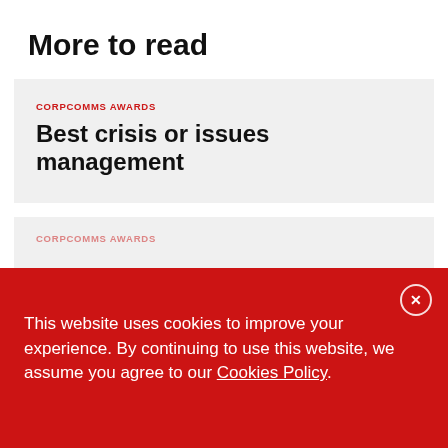More to read
CORPCOMMS AWARDS
Best crisis or issues management
CORPCOMMS AWARDS
This website uses cookies to improve your experience. By continuing to use this website, we assume you agree to our Cookies Policy.